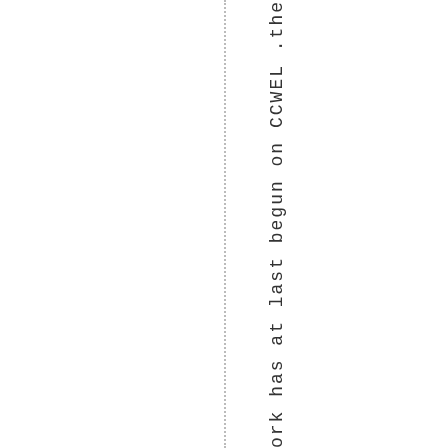Work has at last begun on CCWEL .the